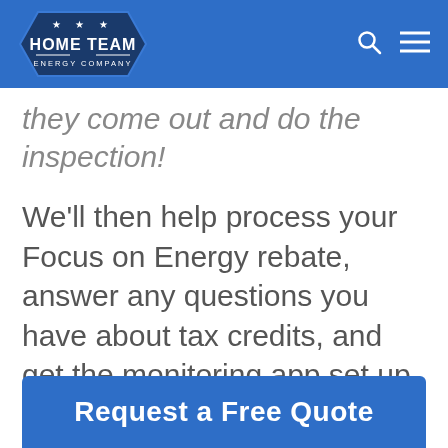Home Team Energy Company
they come out and do the inspection!
We'll then help process your Focus on Energy rebate, answer any questions you have about tax credits, and get the monitoring app set up to put you in charge of your solar energy production!
Request a Free Quote